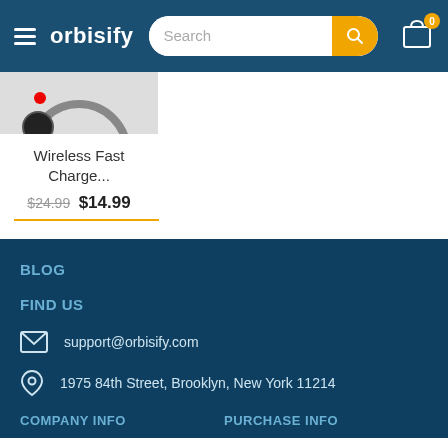orbisify — navigation header with search bar and cart
[Figure (photo): Product image of wireless charger (partially visible, top cut off)]
Wireless Fast Charge...
$24.99 $14.99
BLOG
FIND US
support@orbisify.com
1975 84th Street, Brooklyn, New York 11214
COMPANY INFO
PURCHASE INFO